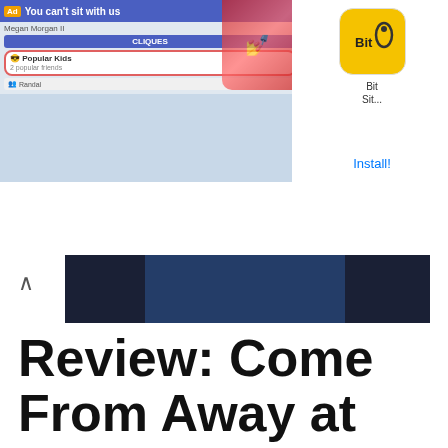[Figure (screenshot): BitLife advertisement banner at top of page showing 'You can't sit with us' app advertisement with CLIQUES menu and Popular Kids option highlighted, BitLife logo on right side with Install button]
[Figure (photo): Stage production photo from Come From Away musical showing ensemble cast, with two male actors sitting at a table facing each other in foreground. One wears a plaid flannel shirt, the other a red and black buffalo check flannel. Other cast members in background including a woman in pink blazer and man with accordion.]
Review: Come From Away at